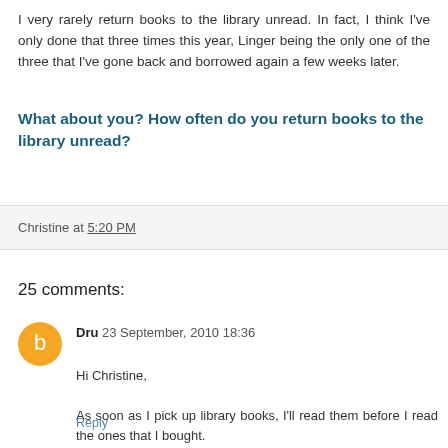I very rarely return books to the library unread. In fact, I think I've only done that three times this year, Linger being the only one of the three that I've gone back and borrowed again a few weeks later.
What about you? How often do you return books to the library unread?
Christine at 5:20 PM
25 comments:
Dru 23 September, 2010 18:36
Hi Christine,

As soon as I pick up library books, I'll read them before I read the ones that I bought.
Reply